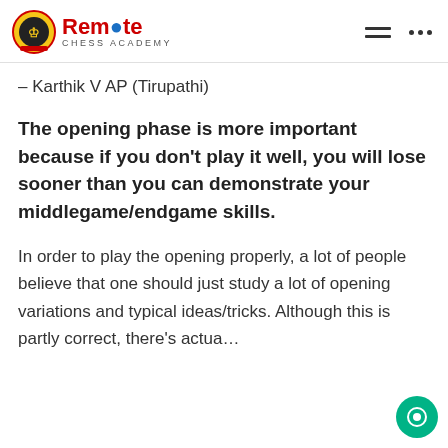Remote Chess Academy
– Karthik V AP (Tirupathi)
The opening phase is more important because if you don't play it well, you will lose sooner than you can demonstrate your middlegame/endgame skills.
In order to play the opening properly, a lot of people believe that one should just study a lot of opening variations and typical ideas/tricks. Although this is partly correct, there's actua…